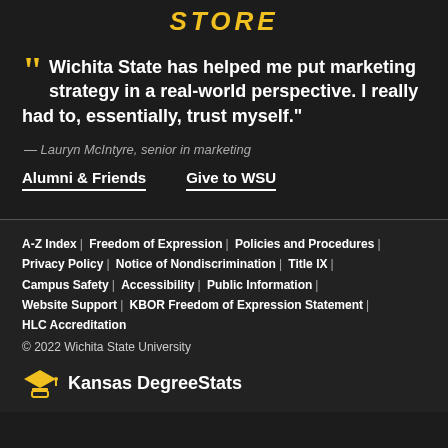STORE
" Wichita State has helped me put marketing strategy in a real-world perspective. I really had to, essentially, trust myself."
— Lauryn McIntyre, senior in marketing
Alumni & Friends
Give to WSU
A-Z Index | Freedom of Expression | Policies and Procedures | Privacy Policy | Notice of Nondiscrimination | Title IX | Campus Safety | Accessibility | Public Information | Website Support | KBOR Freedom of Expression Statement | HLC Accreditation
© 2022 Wichita State University
[Figure (logo): Kansas DegreeStats logo with graduation cap icon and text 'Kansas DegreeStats']